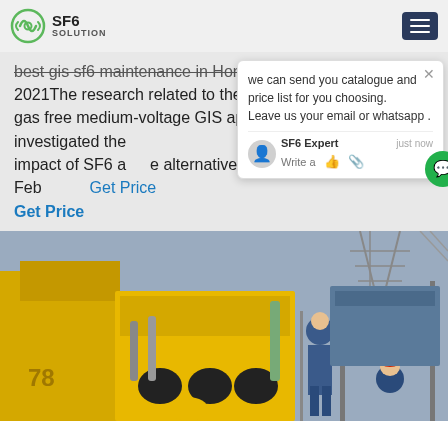SF6 SOLUTION
best gis sf6 maintenance in Hong Kong. Oct 10, 2021The research related to the "Impact assessment of F-gas free medium-voltage GIS applications", i.e. it investigated the environmental and socio-economic impact of SF6 alternatives. Position Paper, 10 Feb ... Get Price
Get Price
we can send you catalogue and price list for you choosing.
Leave us your email or whatsapp .
SF6 Expert   just now
Write a
[Figure (photo): Industrial SF6 maintenance equipment with yellow machinery and workers at an electrical substation with power line towers in background]